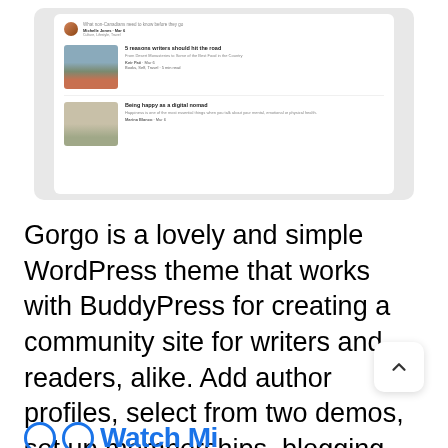[Figure (screenshot): Screenshot of a blog/CMS interface showing article listings with thumbnails, author avatars, titles, subtitles, and metadata including author names, dates, and categories. Articles shown: one by Michelle Jones (Mar 6, Culture, Lifestyle, Travel), '5 reasons writers should hit the road' by Keir Pati (Mar 6, Books, Self, Travel, 5 min read), 'Being happy as a digital nomad' by Marina Blanco (Mar 6).]
Gorgo is a lovely and simple WordPress theme that works with BuddyPress for creating a community site for writers and readers, alike. Add author profiles, select from two demos, set up memberships, blogging communities, social networks, and more.
[Figure (illustration): Partial view of bottom section showing social media icons (circle outlines) and blue bold text, partially cut off at bottom of page.]